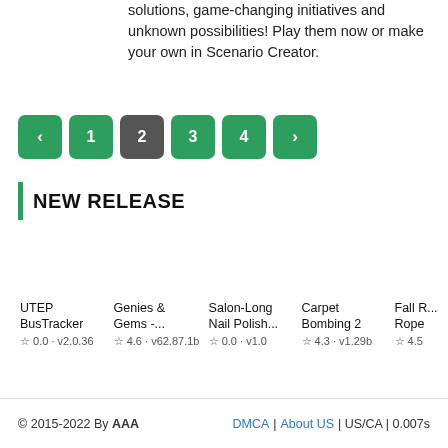solutions, game-changing initiatives and unknown possibilities! Play them now or make your own in Scenario Creator.
[Figure (other): Pagination bar with buttons: left arrow, 1, 2 (active/dark), 3, 4, right arrow]
NEW RELEASE
UTEP BusTracker
☆ 0.0 · v2.0.36
Genies & Gems -...
☆ 4.6 · v62.87.1b
Salon-Long Nail Polish...
☆ 0.0 · v1.0
Carpet Bombing 2
☆ 4.3 · v1.29b
Fall R... Rope
☆ 4.5 · ...
© 2015-2022 By AAA   DMCA | About US | US/CA | 0.007s